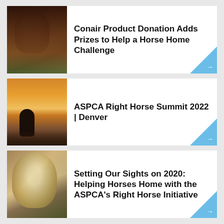[Figure (photo): Card 1: Dark brown horse close-up with title 'Conair Product Donation Adds Prizes to Help a Horse Home Challenge' and blue arrow]
Conair Product Donation Adds Prizes to Help a Horse Home Challenge
[Figure (photo): Card 2: Horse silhouette at sunset with title 'ASPCA Right Horse Summit 2022 | Denver' and blue arrow]
ASPCA Right Horse Summit 2022 | Denver
[Figure (photo): Card 3: Light-colored horse face close-up with title 'Setting Our Sights on 2020: Helping Horses Home with the ASPCA's Right Horse Initiative' and blue arrow]
Setting Our Sights on 2020: Helping Horses Home with the ASPCA's Right Horse Initiative